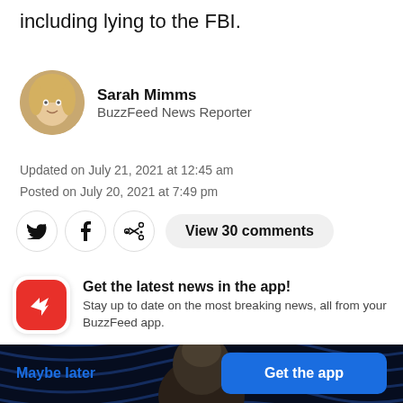including lying to the FBI.
Sarah Mimms
BuzzFeed News Reporter
Updated on July 21, 2021 at 12:45 am
Posted on July 20, 2021 at 7:49 pm
View 30 comments
[Figure (photo): Man with bald head against dark blue wave-patterned background]
Get the latest news in the app!
Stay up to date on the most breaking news, all from your BuzzFeed app.
Maybe later
Get the app